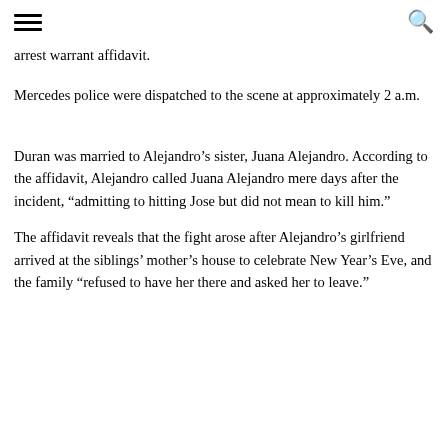[hamburger menu] [search icon]
arrest warrant affidavit.
Mercedes police were dispatched to the scene at approximately 2 a.m.
Duran was married to Alejandro's sister, Juana Alejandro. According to the affidavit, Alejandro called Juana Alejandro mere days after the incident, “admitting to hitting Jose but did not mean to kill him.”
The affidavit reveals that the fight arose after Alejandro’s girlfriend arrived at the siblings’ mother’s house to celebrate New Year’s Eve, and the family “refused to have her there and asked her to leave.”